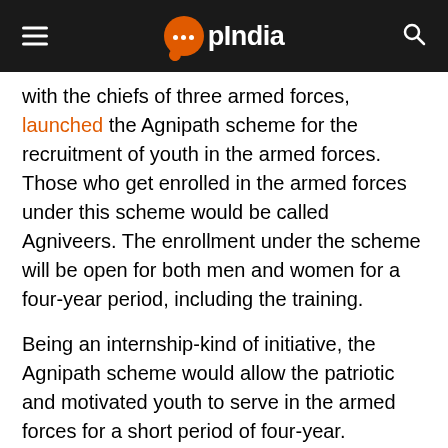OpIndia
with the chiefs of three armed forces, launched the Agnipath scheme for the recruitment of youth in the armed forces. Those who get enrolled in the armed forces under this scheme would be called Agniveers. The enrollment under the scheme will be open for both men and women for a four-year period, including the training.
Being an internship-kind of initiative, the Agnipath scheme would allow the patriotic and motivated youth to serve in the armed forces for a short period of four-year. Moreover, 25% of the candidates will be recruited as regular cadres after the end of four years after an exam.